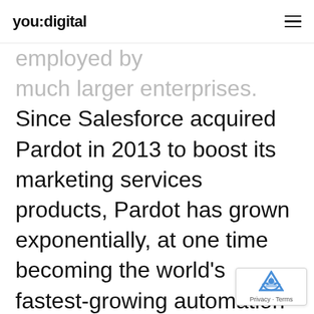you:digital
businesses, It Is how employed by much larger enterprises. Since Salesforce acquired Pardot in 2013 to boost its marketing services products, Pardot has grown exponentially, at one time becoming the world’s fastest-growing automation system